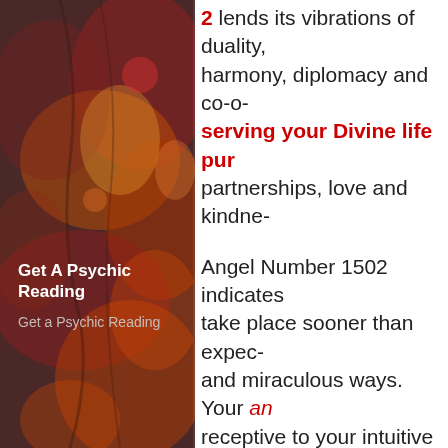[Figure (illustration): Decorative floral background image with warm red, orange, and muted tones on the left panel sidebar]
Get A Psychic Reading
Get a Psychic Reading
2 lends its vibrations of duality, harmony, diplomacy and co-o... serving your Divine life pur... partnerships, love and kindne...
Angel Number 1502 indicates... take place sooner than expec... and miraculous ways. Your an... receptive to your intuitive thou... positive action as guided. Hav... the decisions and choices you... life changes and trust that the... circumstances and new oppo... your life. These changes will a... alignment with your Divine lif...
Angel Number 1502 reassure... in your life will bring about imm...